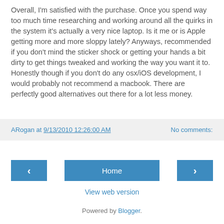Overall, I'm satisfied with the purchase. Once you spend way too much time researching and working around all the quirks in the system it's actually a very nice laptop. Is it me or is Apple getting more and more sloppy lately? Anyways, recommended if you don't mind the sticker shock or getting your hands a bit dirty to get things tweaked and working the way you want it to. Honestly though if you don't do any osx/iOS development, I would probably not recommend a macbook. There are perfectly good alternatives out there for a lot less money.
ARogan at 9/13/2010 12:26:00 AM    No comments:
‹   Home   ›
View web version
Powered by Blogger.